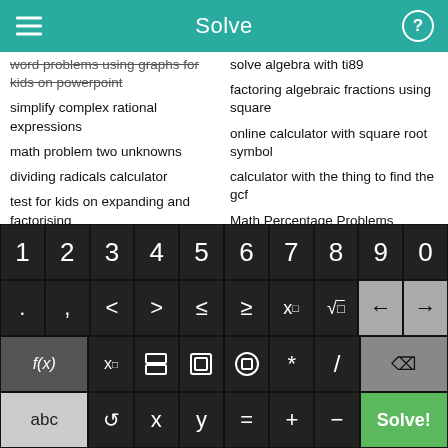Solve
word problems using graphs for kids on powerpoint
simplify complex rational expressions
math problem two unknowns
dividing radicals calculator
test for kids on expanding and factorising
solve algebra with ti89
factoring algebraic fractions using square
online calculator with square root symbol
calculator with the thing to find the gcf
Math Percentage Problems
[Figure (screenshot): Math keyboard with digits 0-9, comparison operators, exponent and square root buttons, function keys including f(x), subscript, fraction, absolute value, parentheses, multiply, divide, delete, abc, rotate, x, y, equals, plus, minus, and a green Solve! button]